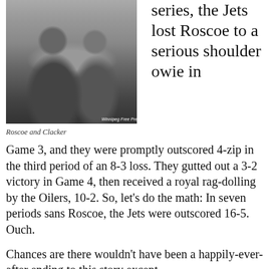[Figure (photo): Black and white photograph of two hockey players in Jets uniforms, one appearing to embrace or assist the other. Photo credit: Winnipeg Free Press.]
Roscoe and Clacker
series, the Jets lost Roscoe to a serious shoulder owie in Game 3, and they were promptly outscored 4-zip in the third period of an 8-3 loss. They gutted out a 3-2 victory in Game 4, then received a royal rag-dolling by the Oilers, 10-2. So, let's do the math: In seven periods sans Roscoe, the Jets were outscored 16-5. Ouch.
Chances are there wouldn't have been a happily-ever-after ending to this story except